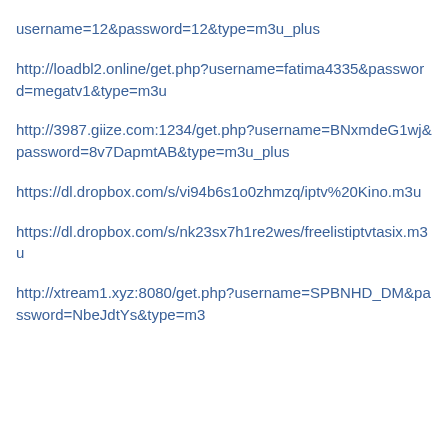username=12&password=12&type=m3u_plus
http://loadbl2.online/get.php?username=fatima4335&password=megatv1&type=m3u
http://3987.giize.com:1234/get.php?username=BNxmdeG1wj&password=8v7DapmtAB&type=m3u_plus
https://dl.dropbox.com/s/vi94b6s1o0zhmzq/iptv%20Kino.m3u
https://dl.dropbox.com/s/nk23sx7h1re2wes/freelistiptvtasix.m3u
http://xtream1.xyz:8080/get.php?username=SPBNHD_DM&password=NbeJdtYs&type=m3